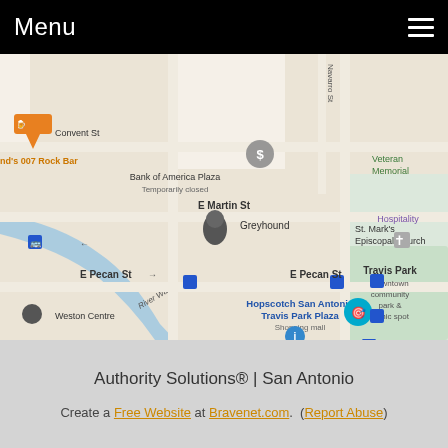Menu
[Figure (map): Google Maps screenshot showing downtown San Antonio area including: nd's 007 Rock Bar, Convent St, Bank of America Plaza (Temporarily closed), Navarro St, Veterans Memorial, E Martin St, Greyhound (bus station), St. Mark's Episcopal Church, E Pecan St (with bus stops), Weston Centre, Hopscotch San Antonio Travis Park Plaza (Shopping mall), Travis Park (Downtown community park & picnic spot), Hospitality, River Walk]
Authority Solutions® | San Antonio
Create a Free Website at Bravenet.com.  (Report Abuse)